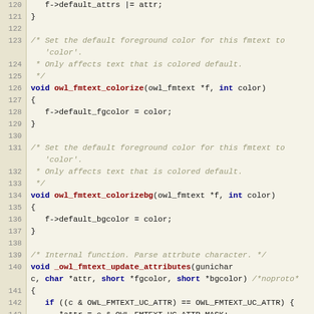[Figure (screenshot): Source code listing in C, lines 120-147, showing functions owl_fmtext_colorize and owl_fmtext_colorizebg and _owl_fmtext_update_attributes with syntax highlighting on a tan/beige background.]